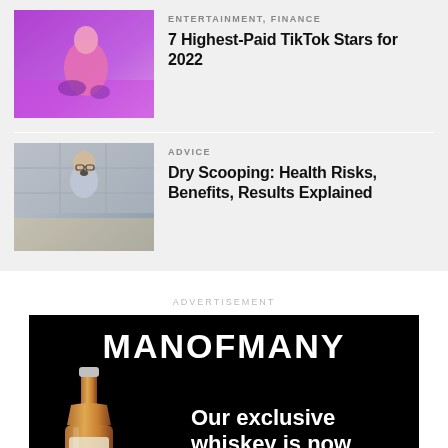[Figure (photo): Person in pink top and purple shorts sitting on pink glittery floor in purple-lit room]
ENTERTAINMENT, FINANCE
7 Highest-Paid TikTok Stars for 2022
[Figure (photo): Young man with glasses making surprised expression in a tiled room/bathroom]
ADVICE
Dry Scooping: Health Risks, Benefits, Results Explained
ADVERTISEMENT
[Figure (advertisement): MANOFMANY advertisement on black background with a whiskey bottle and text: Our exclusive whiskey is now available.]